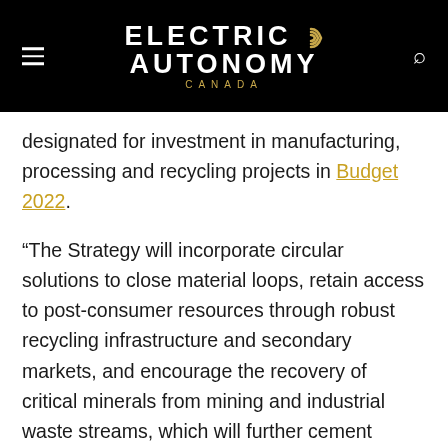[Figure (logo): Electric Autonomy Canada logo — white text on black background with gold wifi/signal icon, and 'CANADA' in gold letters below]
designated for investment in manufacturing, processing and recycling projects in Budget 2022.
“The Strategy will incorporate circular solutions to close material loops, retain access to post-consumer resources through robust recycling infrastructure and secondary markets, and encourage the recovery of critical minerals from mining and industrial waste streams, which will further cement Canada’s innovative leadership in this area,” reads the Exploration to Recycling report.